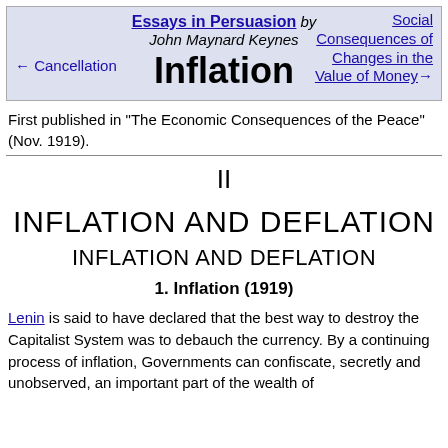Essays in Persuasion by John Maynard Keynes | Inflation | ← Cancellation | Social Consequences of Changes in the Value of Money →
First published in "The Economic Consequences of the Peace" (Nov. 1919).
II
INFLATION AND DEFLATION
INFLATION AND DEFLATION
1. Inflation (1919)
Lenin is said to have declared that the best way to destroy the Capitalist System was to debauch the currency. By a continuing process of inflation, Governments can confiscate, secretly and unobserved, an important part of the wealth of